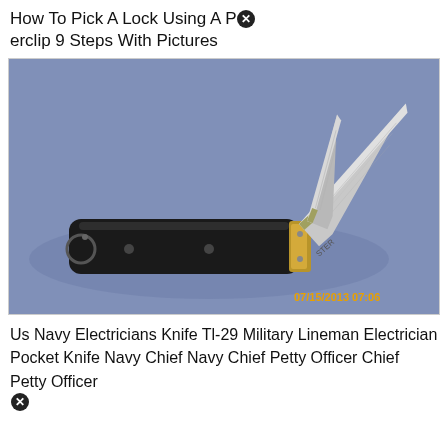How To Pick A Lock Using A Paperclip 9 Steps With Pictures
[Figure (photo): A pocket knife with two blades open, dark handle, photographed on a blue background. Timestamp 07/15/2013 07:06 visible in orange text at bottom right.]
Us Navy Electricians Knife Tl-29 Military Lineman Electrician Pocket Knife Navy Chief Navy Chief Petty Officer Chief Petty Officer